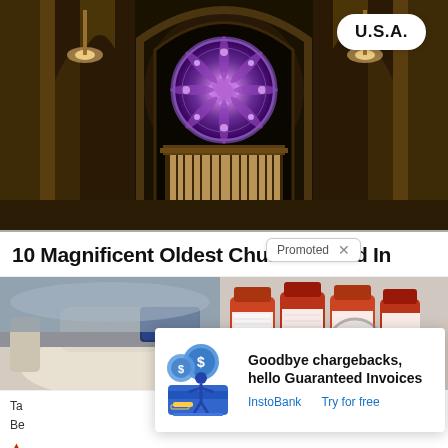[Figure (photo): Interior of a Gothic cathedral with tall pointed arches, golden stone columns, large rose window with purple stained glass in the center, and organ pipes below the window. Warm amber lighting on the stone.]
10 Magnificent Oldest Churches And Cathedrals In
Promoted ×
[Figure (photo): Interior of a luxury car showing cream leather seats and dashboard]
[Figure (photo): Multiple medicine bottles with prescription labels, some with a play button overlay]
[Figure (illustration): Advertisement illustration showing a person with dollar coins and a credit card representing InstoBank guaranteed invoices service]
Goodbye chargebacks, hello Guaranteed Invoices
InstoBank
Try for free
Ta
Be
s)